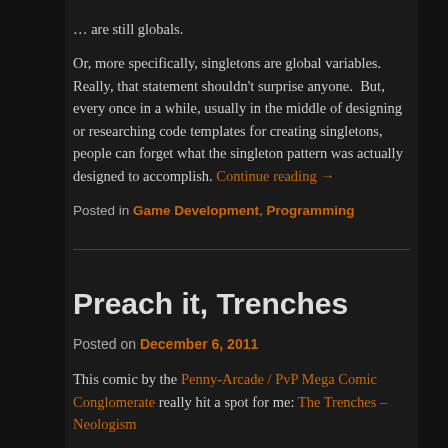… are still globals.
Or, more specifically, singletons are global variables.  Really, that statement shouldn't surprise anyone.  But, every once in a while, usually in the middle of designing or researching code templates for creating singletons, people can forget what the singleton pattern was actually designed to accomplish. Continue reading →
Posted in Game Development, Programming
Preach it, Trenches
Posted on December 6, 2011
This comic by the Penny-Arcade / PvP Mega Comic Conglomerate really hit a spot for me: The Trenches – Neologism